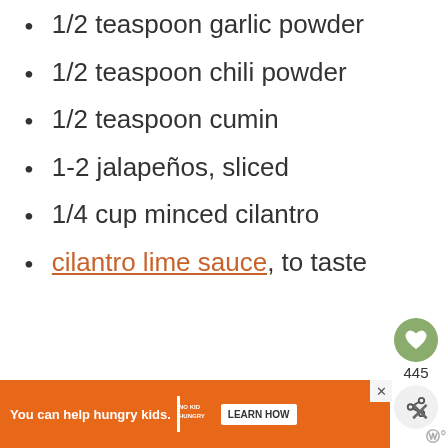1/2 teaspoon garlic powder
1/2 teaspoon chili powder
1/2 teaspoon cumin
1-2 jalapeños, sliced
1/4 cup minced cilantro
cilantro lime sauce, to taste
[Figure (screenshot): Grey placeholder box for an embedded image or advertisement content area]
[Figure (infographic): Orange advertisement banner: 'You can help hungry kids. NO KID HUNGRY. LEARN HOW' with close button. Floating heart favorite button with count 445 and share button on right side.]